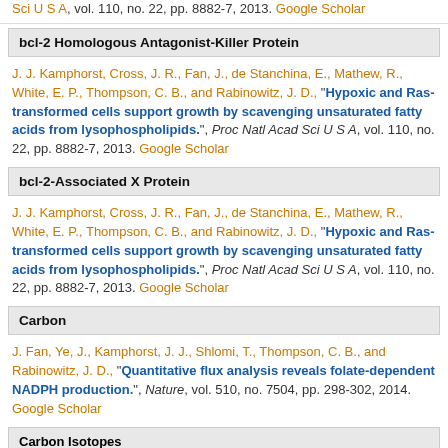Sci U S A, vol. 110, no. 22, pp. 8882-7, 2013. Google Scholar
bcl-2 Homologous Antagonist-Killer Protein
J. J. Kamphorst, Cross, J. R., Fan, J., de Stanchina, E., Mathew, R., White, E. P., Thompson, C. B., and Rabinowitz, J. D., “Hypoxic and Ras-transformed cells support growth by scavenging unsaturated fatty acids from lysophospholipids.”, Proc Natl Acad Sci U S A, vol. 110, no. 22, pp. 8882-7, 2013. Google Scholar
bcl-2-Associated X Protein
J. J. Kamphorst, Cross, J. R., Fan, J., de Stanchina, E., Mathew, R., White, E. P., Thompson, C. B., and Rabinowitz, J. D., “Hypoxic and Ras-transformed cells support growth by scavenging unsaturated fatty acids from lysophospholipids.”, Proc Natl Acad Sci U S A, vol. 110, no. 22, pp. 8882-7, 2013. Google Scholar
Carbon
J. Fan, Ye, J., Kamphorst, J. J., Shlomi, T., Thompson, C. B., and Rabinowitz, J. D., “Quantitative flux analysis reveals folate-dependent NADPH production.”, Nature, vol. 510, no. 7504, pp. 298-302, 2014. Google Scholar
Carbon Isotopes